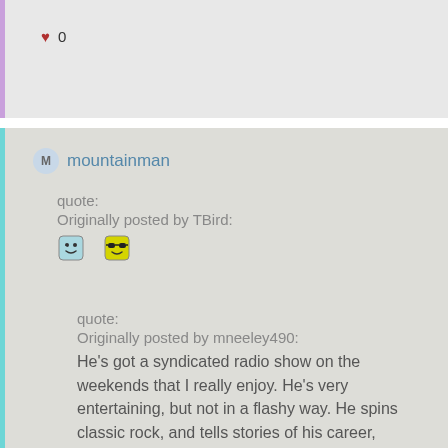♥ 0
mountainman
quote:
Originally posted by TBird:
[emoji] [emoji]
quote:
Originally posted by mneeley490:
He's got a syndicated radio show on the weekends that I really enjoy. He's very entertaining, but not in a flashy way. He spins classic rock, and tells stories of his career, friends, people he met and worked with, etc.